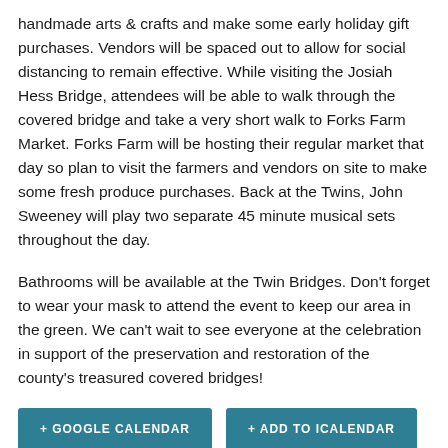handmade arts & crafts and make some early holiday gift purchases. Vendors will be spaced out to allow for social distancing to remain effective. While visiting the Josiah Hess Bridge, attendees will be able to walk through the covered bridge and take a very short walk to Forks Farm Market. Forks Farm will be hosting their regular market that day so plan to visit the farmers and vendors on site to make some fresh produce purchases. Back at the Twins, John Sweeney will play two separate 45 minute musical sets throughout the day.
Bathrooms will be available at the Twin Bridges. Don't forget to wear your mask to attend the event to keep our area in the green. We can't wait to see everyone at the celebration in support of the preservation and restoration of the county's treasured covered bridges!
+ GOOGLE CALENDAR
+ ADD TO ICALENDAR